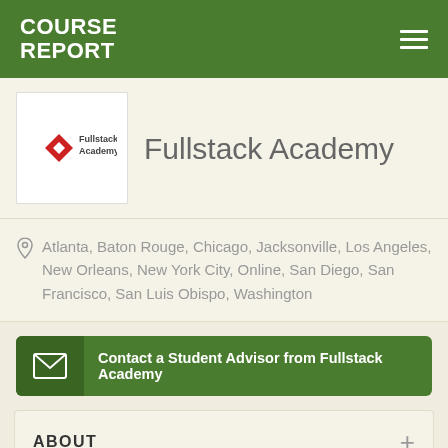COURSE REPORT
Fullstack Academy
[Figure (logo): Fullstack Academy logo: red diamond shape with text 'Fullstack Academy']
Atlanta, Baton Rouge, Chicago, Jacksonville, Los Angeles, New Orleans, New York City, Online, San Diego, San Francisco, San Luis Obispo, Washington
Contact a Student Advisor from Fullstack Academy
ABOUT
Fullstack Academy offers full-time and part-time